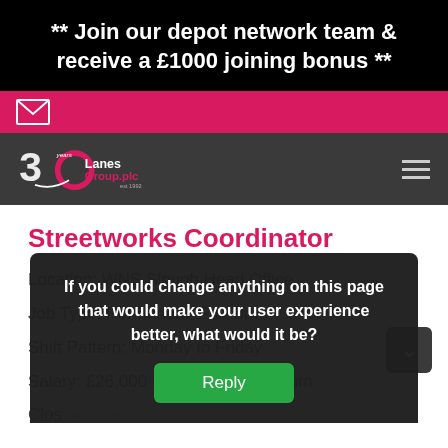** Join our depot network team & receive a £1000 joining bonus **
[Figure (logo): Envelope icon on pink bar]
[Figure (logo): Lanes Group plc 30 years logo on dark navigation bar]
Streetworks Coordinator
Location: WNS Slough Head Office
Job Type: Permanent, Full Time
Shift Pattern: Monday to Friday
Salary: £26,000 - £30,000 Per Annum
Closing date:
If you could change anything on this page that would make your user experience better, what would it be?
Reply